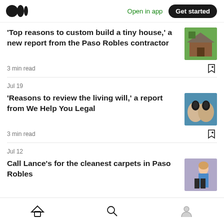Medium app header with logo, 'Open in app', and 'Get started' button
'Top reasons to custom build a tiny house,' a new report from the Paso Robles contractor
3 min read
Jul 19
'Reasons to review the living will,' a report from We Help You Legal
3 min read
Jul 12
Call Lance's for the cleanest carpets in Paso Robles
Bottom navigation: Home, Search, Profile